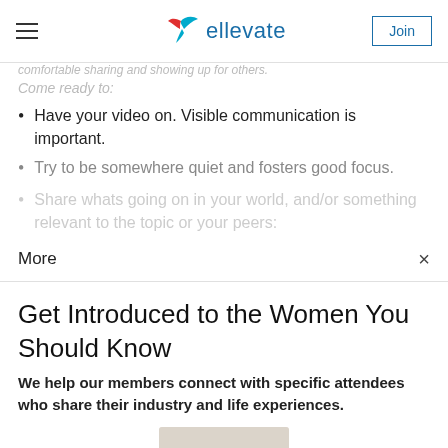ellevate — Join
comfortable sharing and showing up for others.
Come ready to:
Have your video on. Visible communication is important.
Try to be somewhere quiet and fosters good focus.
Share whats going on in your world, and/or something relevant to the topic or your peers:
More
Get Introduced to the Women You Should Know
We help our members connect with specific attendees who share their industry and life experiences.
[Figure (photo): Blurred photo of a person or group, partially visible at the bottom of the page]